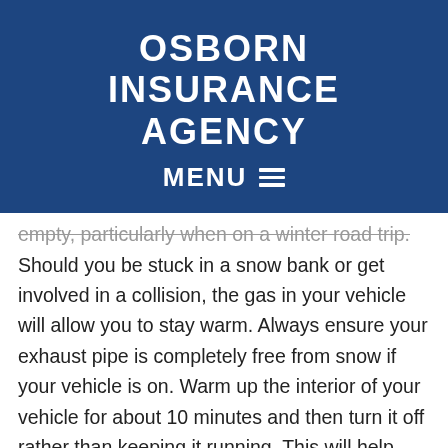OSBORN INSURANCE AGENCY
MENU
empty, particularly when on a winter road trip. Should you be stuck in a snow bank or get involved in a collision, the gas in your vehicle will allow you to stay warm. Always ensure your exhaust pipe is completely free from snow if your vehicle is on. Warm up the interior of your vehicle for about 10 minutes and then turn it off rather than keeping it running. This will help you to conserve fuel while you are waiting for help. It can take some time for emergency vehicles to arrive, particularly in rural